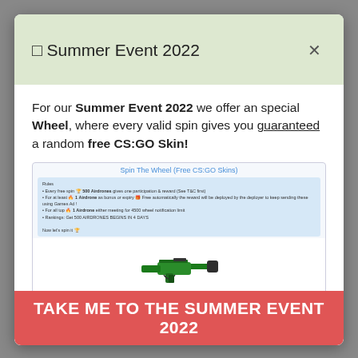☀ Summer Event 2022
For our Summer Event 2022 we offer an special Wheel, where every valid spin gives you guaranteed a random free CS:GO Skin!
[Figure (screenshot): Screenshot of a CS:GO skin spinning wheel promotion page titled 'Spin The Wheel (Free CS:GO Skins)' showing a green submachine gun, spin buttons, and a row of prize skins.]
TAKE ME TO THE SUMMER EVENT 2022